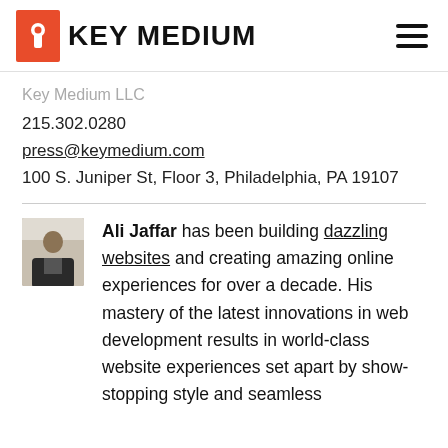[Figure (logo): Key Medium logo with orange keyhole shield icon and bold KEY MEDIUM text, plus hamburger menu icon on the right]
Key Medium LLC
215.302.0280
press@keymedium.com
100 S. Juniper St, Floor 3, Philadelphia, PA 19107
[Figure (photo): Small square headshot photo of Ali Jaffar]
Ali Jaffar has been building dazzling websites and creating amazing online experiences for over a decade. His mastery of the latest innovations in web development results in world-class website experiences set apart by show-stopping style and seamless